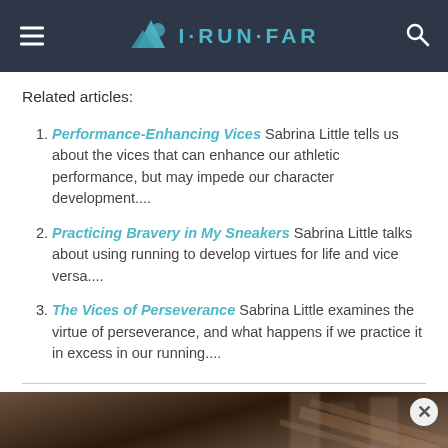I·RUN·FAR
Related articles:
Performance-Enhancing Vices Sabrina Little tells us about the vices that can enhance our athletic performance, but may impede our character development....
Practicing Bravery in My Sneakers Sabrina Little talks about using running to develop virtues for life and vice versa....
The Vices of Perseverance Sabrina Little examines the virtue of perseverance, and what happens if we practice it in excess in our running....
[Figure (photo): Merrell shoe advertisement banner showing a trail running shoe and blurred runner feet on dirt trail, with MERRELL text in white on right side.]